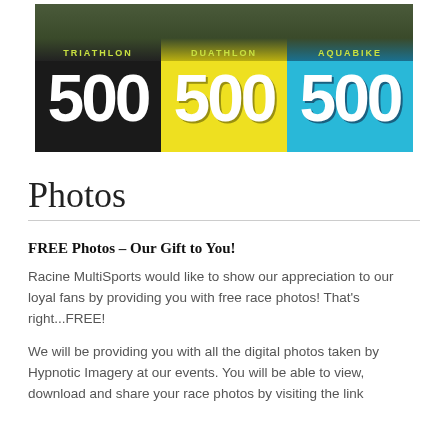[Figure (illustration): Three race bib number badges side by side: black background labeled TRIATHLON with number 500, yellow background labeled DUATHLON with number 500, and blue background labeled AQUABIKE with number 500.]
Photos
FREE Photos – Our Gift to You!
Racine MultiSports would like to show our appreciation to our loyal fans by providing you with free race photos!  That's right...FREE!
We will be providing you with all the digital photos taken by Hypnotic Imagery at our events.  You will be able to view, download and share your race photos by visiting the link